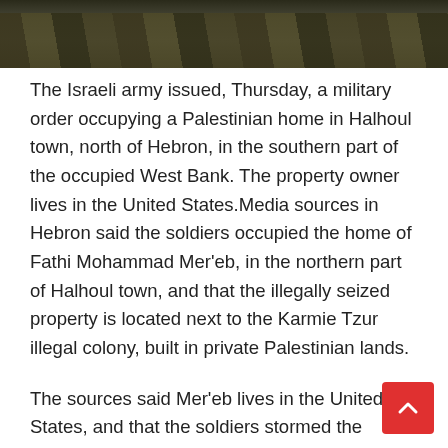[Figure (photo): Dark photograph showing soldiers or military personnel in olive/khaki clothing, cropped at top of page]
The Israeli army issued, Thursday, a military order occupying a Palestinian home in Halhoul town, north of Hebron, in the southern part of the occupied West Bank. The property owner lives in the United States.Media sources in Hebron said the soldiers occupied the home of Fathi Mohammad Mer'eb, in the northern part of Halhoul town, and that the illegally seized property is located next to the Karmie Tzur illegal colony, built in private Palestinian lands.
The sources said Mer'eb lives in the United States, and that the soldiers stormed the property while his nephew, Nidal Samih Karaja, was there, and handed him an order informing